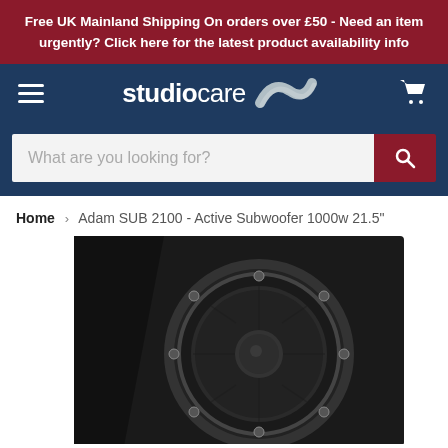Free UK Mainland Shipping On orders over £50 - Need an item urgently? Click here for the latest product availability info
[Figure (screenshot): Studiocare logo with stylized S graphic on dark navy background, hamburger menu on left, cart icon on right]
[Figure (screenshot): Search bar with placeholder text 'What are you looking for?' and red search button]
Home > Adam SUB 2100 - Active Subwoofer 1000w 21.5"
[Figure (photo): Close-up photo of Adam SUB 2100 active subwoofer, showing large circular woofer driver on dark matte black cabinet]